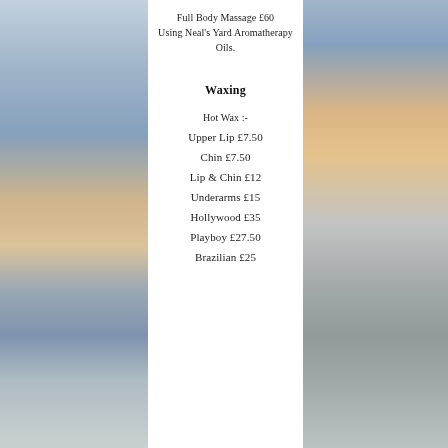Full Body Massage £60
Using Neal's Yard Aromatherapy Oils.
Waxing
Hot Wax :-
Upper Lip £7.50
Chin £7.50
Lip & Chin £12
Underarms £15
Hollywood £35
Playboy £27.50
Brazilian £25